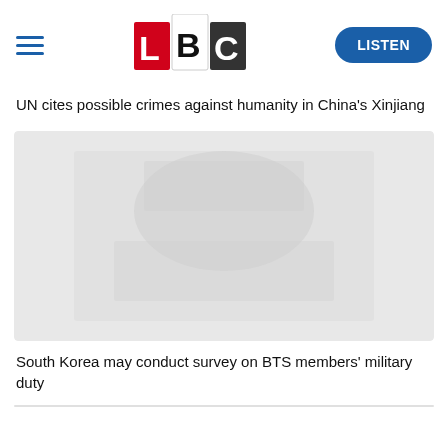LBC
UN cites possible crimes against humanity in China's Xinjiang
[Figure (photo): A faded/greyed out news image related to the Xinjiang story, with indistinct watermarked content visible]
South Korea may conduct survey on BTS members' military duty